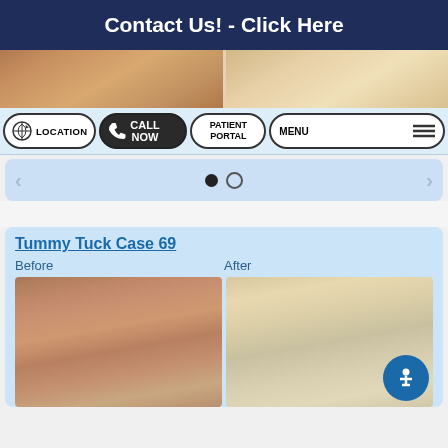Contact Us! - Click Here
[Figure (photo): Cropped before/after abdomen photos at top of page]
[Figure (infographic): Navigation bar with four buttons: LOCATION, CALL NOW, PATIENT PORTAL, MENU]
[Figure (infographic): Carousel slider with left/right arrows and two dots (first filled, second empty)]
Tummy Tuck Case 69
[Figure (photo): Before photo: front view of abdomen showing excess skin and fat]
[Figure (photo): After photo: front view of abdomen showing post-tummy tuck results]